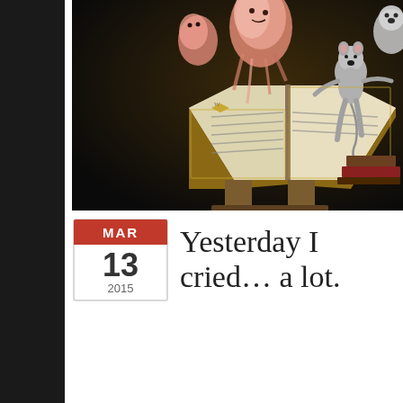[Figure (illustration): Fantasy illustration showing strange creature figures — pink jellyfish-like beings, gray rat-like humanoids — around a large open book on what appears to be a lectern or stand. A ghostly blue spirit is chained in the lower left. The style is detailed oil painting in dark, rich colors.]
Yesterday I cried… a lot.
Privacy & Cookies: This site uses cookies. By continuing to use this website, you agree to their use.
To find out more, including how to control cookies, see here:
Cookie Policy
Close and accept